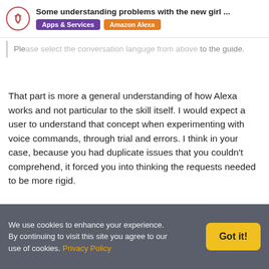Some understanding problems with the new girl ... | Apps & Services | Amazon Alexa
Ple... on languge from above to the guide.
That part is more a general understanding of how Alexa works and not particular to the skill itself. I would expect a user to understand that concept when experimenting with voice commands, through trial and errors. I think in your case, because you had duplicate issues that you couldn't comprehend, it forced you into thinking the requests needed to be more rigid.
mstormi ◇  1 ✏  Jun '20
Markus Storm
We use cookies to enhance your experience. By continuing to visit this site you agree to our use of cookies. Privacy Policy   Got it!